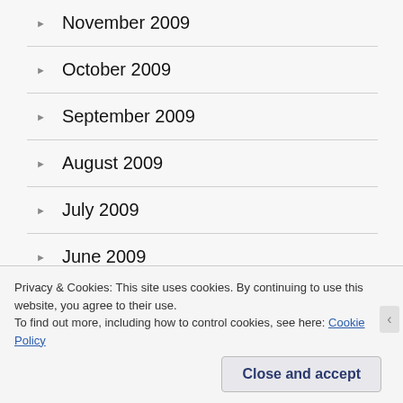November 2009
October 2009
September 2009
August 2009
July 2009
June 2009
May 2009
April 2009
Privacy & Cookies: This site uses cookies. By continuing to use this website, you agree to their use.
To find out more, including how to control cookies, see here: Cookie Policy
Close and accept